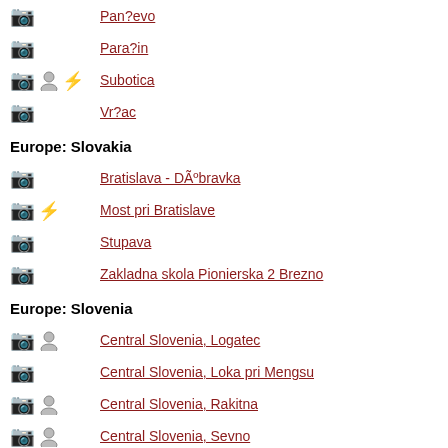Pan?evo
Para?in
Subotica
Vr?ac
Europe: Slovakia
Bratislava - DÃºbravka
Most pri Bratislave
Stupava
Zakladna skola Pionierska 2 Brezno
Europe: Slovenia
Central Slovenia, Logatec
Central Slovenia, Loka pri Mengsu
Central Slovenia, Rakitna
Central Slovenia, Sevno
Central Slovenia, Srednje Jarse
Central Slovenia, Stanezice
Drava, Krcevina pri Vurbergu
Drava, Slatina, Cirkulane
Gorizia, Deskle